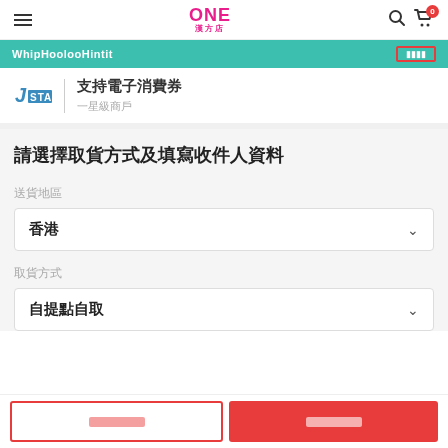ONE 漢方店
WhipHoolooHintit
[Figure (logo): J STAR logo with blue icon]
支持電子消費券
一星級商戶
請選擇取貨方式及填寫收件人資料
送貨地區
香港
取貨方式
自提點自取
返回上一頁  確認訂單